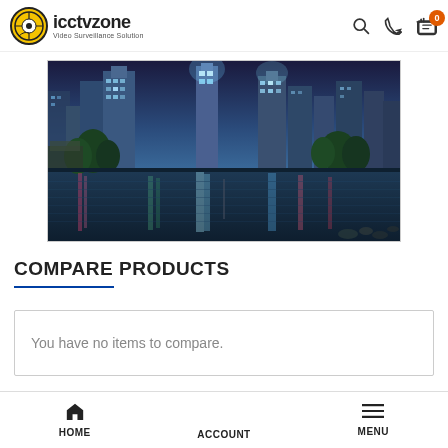icctvzone - Video Surveillance Solution
[Figure (photo): City skyline at night with colorful reflections in a lake. Tall illuminated skyscrapers and green trees reflected in calm water with rocks.]
COMPARE PRODUCTS
You have no items to compare.
HOME   ACCOUNT   MENU